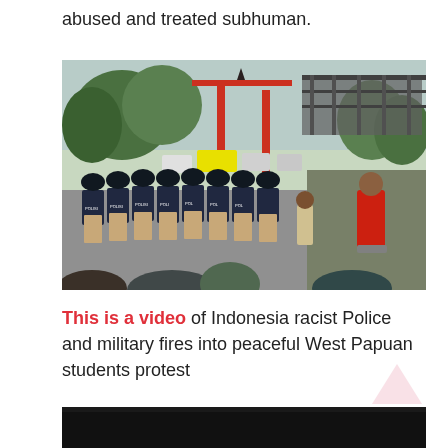abused and treated subhuman.
[Figure (photo): Outdoor scene showing a line of Indonesian riot police officers in black helmets and tan uniforms holding shields marked 'POLISI', facing a crowd of protesters. In the background is a red ornamental gate/bridge structure with a pointed tower, trees, and various vehicles. A person in a red jacket stands at right foreground.]
This is a video of Indonesia racist Police and military fires into peaceful West Papuan students protest
[Figure (screenshot): Bottom portion of a dark video thumbnail, partially visible.]